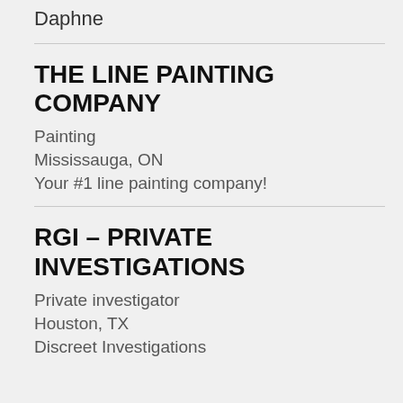Daphne
THE LINE PAINTING COMPANY
Painting
Mississauga, ON
Your #1 line painting company!
RGI – PRIVATE INVESTIGATIONS
Private investigator
Houston, TX
Discreet Investigations